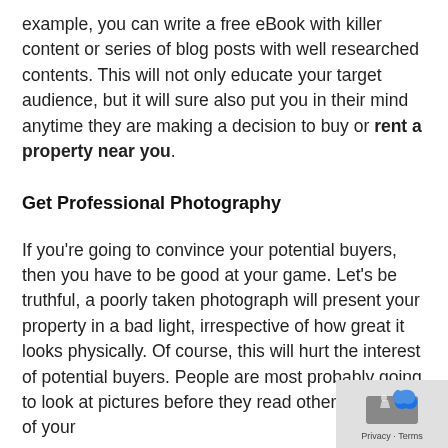example, you can write a free eBook with killer content or series of blog posts with well researched contents. This will not only educate your target audience, but it will sure also put you in their mind anytime they are making a decision to buy or rent a property near you.
Get Professional Photography
If you're going to convince your potential buyers, then you have to be good at your game. Let's be truthful, a poorly taken photograph will present your property in a bad light, irrespective of how great it looks physically. Of course, this will hurt the interest of potential buyers. People are most probably going to look at pictures before they read other contents of your